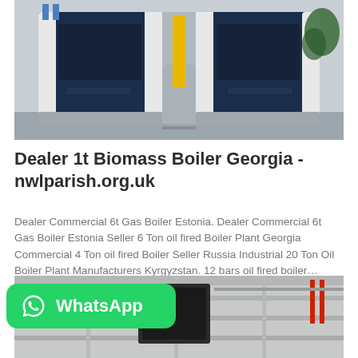[Figure (photo): Industrial boiler room with two large dark blue/white boiler units side by side in a concrete facility]
Dealer 1t Biomass Boiler Georgia - nwlparish.org.uk
Dealer Commercial 6t Gas Boiler Estonia. Dealer Commercial 6t Gas Boiler Estonia Seller 6 Ton oil fired Boiler Plant Georgia Commercial 4 Ton oil fired Boiler Seller Russia Industrial 20 Ton Oil Boiler Plant Manufacturers Kyrgyzstan. 12 bars oil fired boiler…
[Figure (logo): WhatsApp logo button with green background and phone icon with text 'WhatsApp']
[Figure (photo): Industrial ceiling/warehouse interior with mounted equipment and pipes]